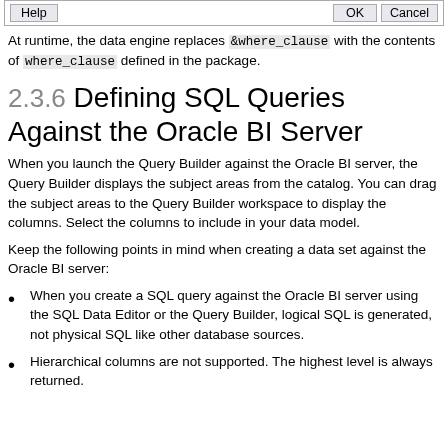[Figure (screenshot): Dialog bar with Help, OK, and Cancel buttons]
At runtime, the data engine replaces &where_clause with the contents of where_clause defined in the package.
2.3.6 Defining SQL Queries Against the Oracle BI Server
When you launch the Query Builder against the Oracle BI server, the Query Builder displays the subject areas from the catalog. You can drag the subject areas to the Query Builder workspace to display the columns. Select the columns to include in your data model.
Keep the following points in mind when creating a data set against the Oracle BI server:
When you create a SQL query against the Oracle BI server using the SQL Data Editor or the Query Builder, logical SQL is generated, not physical SQL like other database sources.
Hierarchical columns are not supported. The highest level is always returned.